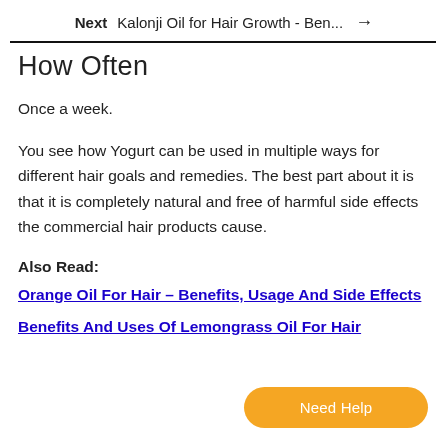Next  Kalonji Oil for Hair Growth - Ben...  →
How Often
Once a week.
You see how Yogurt can be used in multiple ways for different hair goals and remedies. The best part about it is that it is completely natural and free of harmful side effects the commercial hair products cause.
Also Read:
Orange Oil For Hair – Benefits, Usage And Side Effects
Benefits And Uses Of Lemongrass Oil For Hair